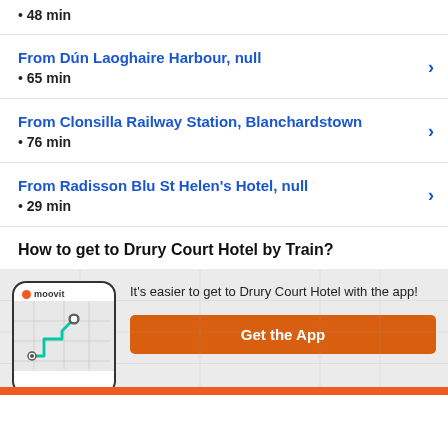• 48 min
From Dún Laoghaire Harbour, null
• 65 min
From Clonsilla Railway Station, Blanchardstown
• 76 min
From Radisson Blu St Helen's Hotel, null
• 29 min
How to get to Drury Court Hotel by Train?
It's easier to get to Drury Court Hotel with the app!
Get the App